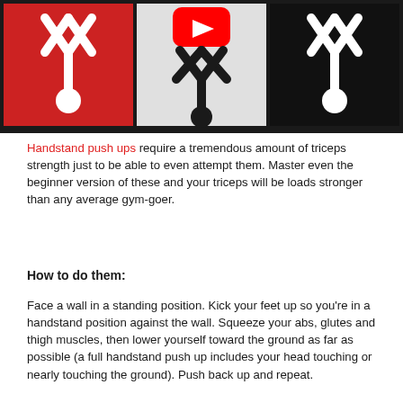[Figure (illustration): Three-panel fitness illustration showing stick figures in handstand positions: left panel red background with white figure, center panel light gray background with YouTube play button icon and dark figure, right panel black background with white figure.]
Handstand push ups require a tremendous amount of triceps strength just to be able to even attempt them. Master even the beginner version of these and your triceps will be loads stronger than any average gym-goer.
How to do them:
Face a wall in a standing position. Kick your feet up so you're in a handstand position against the wall. Squeeze your abs, glutes and thigh muscles, then lower yourself toward the ground as far as possible (a full handstand push up includes your head touching or nearly touching the ground). Push back up and repeat.